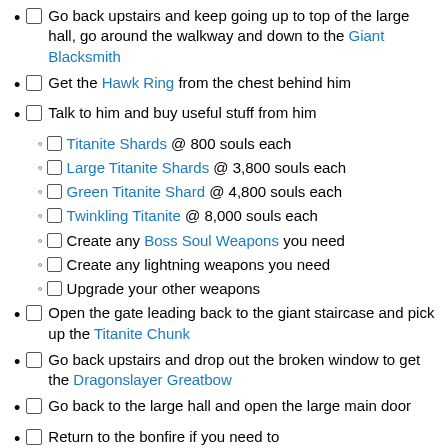Go back upstairs and keep going up to top of the large hall, go around the walkway and down to the Giant Blacksmith
Get the Hawk Ring from the chest behind him
Talk to him and buy useful stuff from him
Titanite Shards @ 800 souls each
Large Titanite Shards @ 3,800 souls each
Green Titanite Shard @ 4,800 souls each
Twinkling Titanite @ 8,000 souls each
Create any Boss Soul Weapons you need
Create any lightning weapons you need
Upgrade your other weapons
Open the gate leading back to the giant staircase and pick up the Titanite Chunk
Go back upstairs and drop out the broken window to get the Dragonslayer Greatbow
Go back to the large hall and open the large main door
Return to the bonfire if you need to
Kill Ornstein and Smough